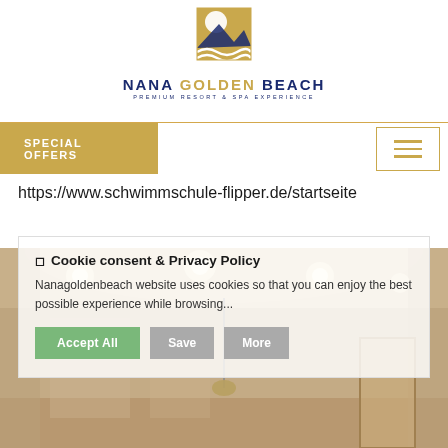[Figure (logo): Nana Golden Beach hotel logo with sun and wave motif in gold and dark blue]
NANA GOLDEN BEACH
PREMIUM RESORT & SPA EXPERIENCE
SPECIAL OFFERS
https://www.schwimmschule-flipper.de/startseite
[Figure (photo): Interior photo of hotel room/lobby with ceiling lights]
🍪 Cookie consent & Privacy Policy
Nanagoldenbeach website uses cookies so that you can enjoy the best possible experience while browsing...
Accept All  Save  More